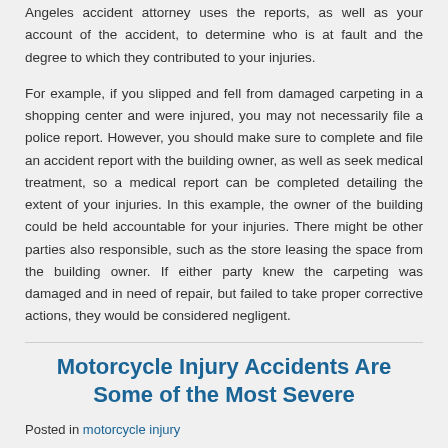Angeles accident attorney uses the reports, as well as your account of the accident, to determine who is at fault and the degree to which they contributed to your injuries.
For example, if you slipped and fell from damaged carpeting in a shopping center and were injured, you may not necessarily file a police report. However, you should make sure to complete and file an accident report with the building owner, as well as seek medical treatment, so a medical report can be completed detailing the extent of your injuries. In this example, the owner of the building could be held accountable for your injuries. There might be other parties also responsible, such as the store leasing the space from the building owner. If either party knew the carpeting was damaged and in need of repair, but failed to take proper corrective actions, they would be considered negligent.
Motorcycle Injury Accidents Are Some of the Most Severe
Posted in motorcycle injury